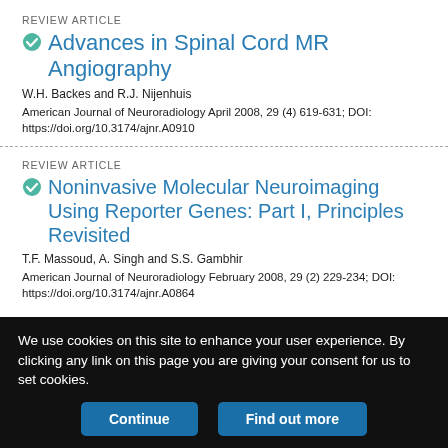REVIEW ARTICLE
Advances in Spinal Cord MR Angiography
W.H. Backes and R.J. Nijenhuis
American Journal of Neuroradiology April 2008, 29 (4) 619-631; DOI: https://doi.org/10.3174/ajnr.A0910
REVIEW ARTICLE
Noninvasive Molecular Neuroimaging Using Reporter Genes: Part I, Principles Revisited
T.F. Massoud, A. Singh and S.S. Gambhir
American Journal of Neuroradiology February 2008, 29 (2) 229-234; DOI: https://doi.org/10.3174/ajnr.A0864
We use cookies on this site to enhance your user experience. By clicking any link on this page you are giving your consent for us to set cookies.